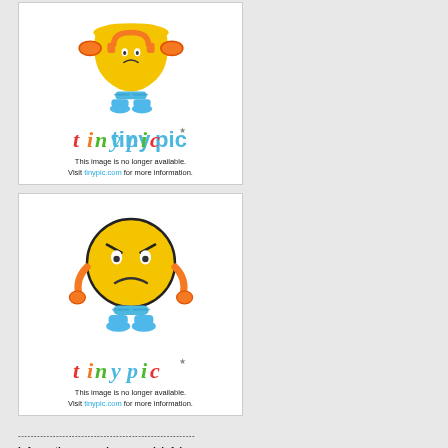[Figure (illustration): Tinypic placeholder image showing a trophy character with orange headphones and blue legs/shoes with 'tinypic' logo below. Text: 'This image is no longer available. Visit tinypic.com for more information.']
[Figure (illustration): Tinypic placeholder image showing a frustrated yellow emoji character with orange hands on hips and blue shoes with 'tinypic' logo below. Text: 'This image is no longer available. Visit tinypic.com for more information.']
--------------------------------------------------------
Information menu (command .info)
Old T2A dialogs get updated to an modern AQS design.